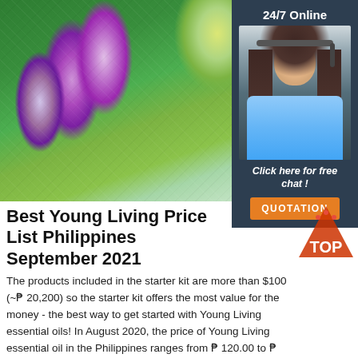[Figure (photo): Close-up photo of purple thistle flowers with spiky petals against a green blurred background]
[Figure (photo): Sidebar widget with dark navy background showing '24/7 Online' text, a woman with headset smiling, 'Click here for free chat!' text, and an orange QUOTATION button]
[Figure (logo): TOP badge logo with red/orange triangle shape and the word TOP]
Best Young Living Price List Philippines September 2021
The products included in the starter kit are more than $100 (~₱ 20,200) so the starter kit offers the most value for the money - the best way to get started with Young Living essential oils! In August 2020, the price of Young Living essential oil in the Philippines ranges from ₱ 120.00 to ₱ 4,900.00. Young Living essential oils are ...